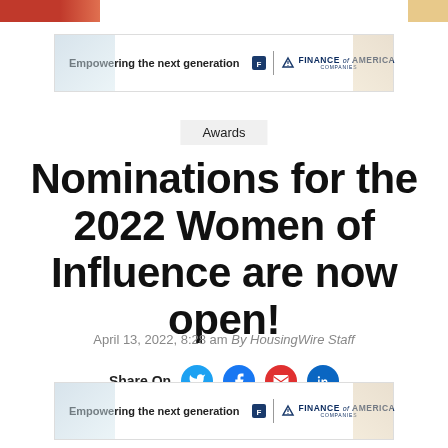[Figure (infographic): Top strip with red/orange image on left and tan strip on right]
[Figure (infographic): Finance of America Companies advertisement banner top — 'Empowering the next generation']
Awards
Nominations for the 2022 Women of Influence are now open!
April 13, 2022, 8:28 am By HousingWire Staff
Share On
[Figure (infographic): Finance of America Companies advertisement banner bottom — 'Empowering the next generation']